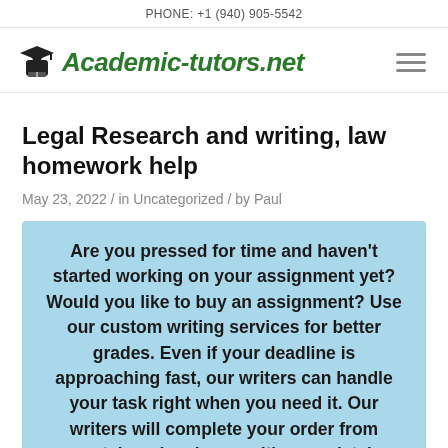PHONE: +1 (940) 905-5542
[Figure (logo): Academic-tutors.net logo with graduation figure icon and green italic bold text]
Legal Research and writing, law homework help
May 23, 2022 / in Uncategorized / by Paul
Are you pressed for time and haven't started working on your assignment yet? Would you like to buy an assignment? Use our custom writing services for better grades. Even if your deadline is approaching fast, our writers can handle your task right when you need it. Our writers will complete your order from scratch and make sure it's completely unique.